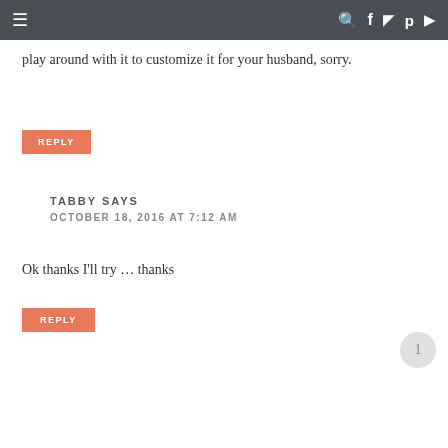≡  🔍 f 📷 𝗽 ▶
play around with it to customize it for your husband, sorry.
REPLY
TABBY SAYS
OCTOBER 18, 2016 AT 7:12 AM
Ok thanks I'll try … thanks
REPLY